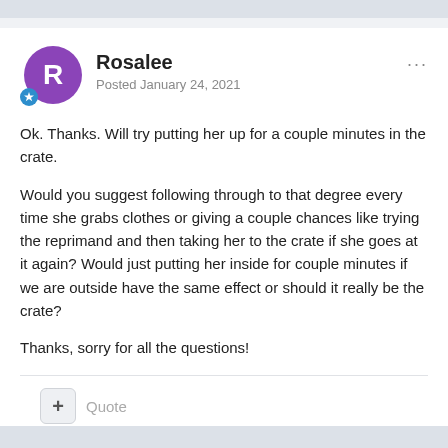Rosalee
Posted January 24, 2021
Ok. Thanks. Will try putting her up for a couple minutes in the crate.

Would you suggest following through to that degree every time she grabs clothes or giving a couple chances like trying the reprimand and then taking her to the crate if she goes at it again? Would just putting her inside for couple minutes if we are outside have the same effect or should it really be the crate?

Thanks, sorry for all the questions!
+ Quote